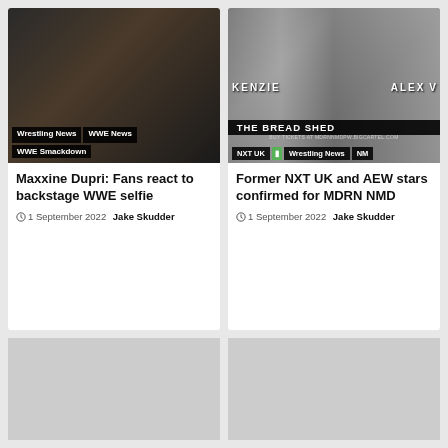[Figure (photo): Dark photo of a woman in black outfit, with tags 'Wrestling News', 'WWE News', 'WWE Smackdown']
[Figure (photo): Black and white photo of two women with text overlay 'THE BREAD SHED', 'KENZIE', 'ALEX', 'NXT UK', 'Wrestling News', 'BUY TICKETS AT MDRNNMDPW.BIGCARTEL.COM']
Maxxine Dupri: Fans react to backstage WWE selfie
1 September 2022  Jake Skudder
Former NXT UK and AEW stars confirmed for MDRN NMD
1 September 2022  Jake Skudder
[Figure (photo): Light grey placeholder image (loading)]
[Figure (photo): Light grey placeholder image (loading)]